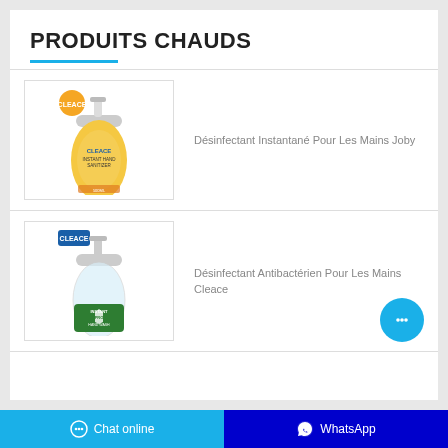PRODUITS CHAUDS
[Figure (photo): Yellow hand sanitizer bottle with CLEACE branding and orange circular logo]
Désinfectant Instantané Pour Les Mains Joby
[Figure (photo): Clear pump bottle of CLEACE antibacterial hand sanitizer with green label]
Désinfectant Antibactérien Pour Les Mains Cleace
Chat online  WhatsApp